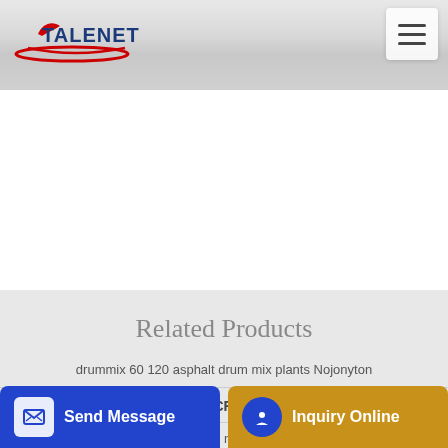TALENET
Related Products
drummix 60 120 asphalt drum mix plants Nojonyton
CARSON CONCRETE PUMPING
concrete mixing ma... ll ... ine ...
Send Message
Inquiry Online